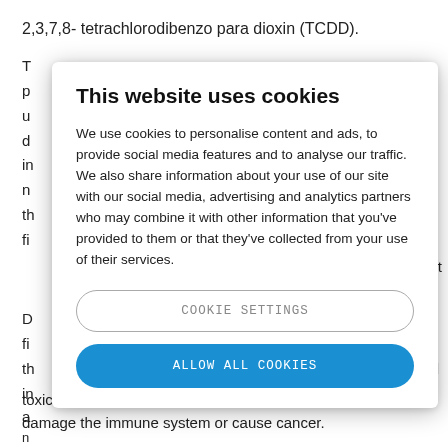2,3,7,8- tetrachlorodibenzo para dioxin (TCDD).
T
p
u
d
in
n
th
fi
[Figure (screenshot): Cookie consent overlay with title 'This website uses cookies', body text about cookie usage, a 'COOKIE SETTINGS' button, and an 'ALLOW ALL COOKIES' button.]
toxic compounds and can cause adverse effects such as damage the immune system or cause cancer.